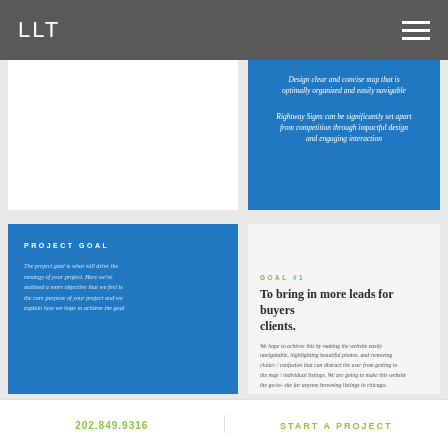LLT
Design clear and concise map that is optimally organized and easily navigable
Rightway Signs can be significantly set apart from competition through impactful design and engaging interaction
PROJECT GOAL
The project goal is what will drive the strategy of your project. Here we've outlined a more objective that we feel is the core purpose of your project and we explain how we hope to achieve the goal
GOAL #1
To bring in more leads for buyers clients.
We hope to achieve this by making the website easily navigatable, highlighting beautiful photos, and removing clutter / confusion that can distract the user from getting to the map / individual listings. We are going to make this website the go-to- site for anyone browsing listings in chicago.
202.849.9316
START A PROJECT